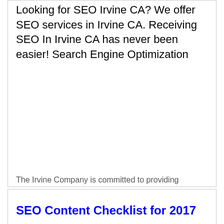Looking for SEO Irvine CA? We offer SEO services in Irvine CA. Receiving SEO In Irvine CA has never been easier! Search Engine Optimization
The Irvine Company is committed to providing
SEO Content Checklist for 2017
by Garrett Mehrguth @ Directive Consulting